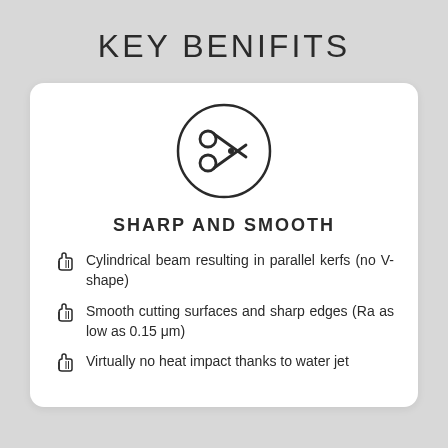KEY BENIFITS
[Figure (illustration): Scissors icon inside a circle]
SHARP AND SMOOTH
Cylindrical beam resulting in parallel kerfs (no V-shape)
Smooth cutting surfaces and sharp edges (Ra as low as 0.15 μm)
Virtually no heat impact thanks to water jet